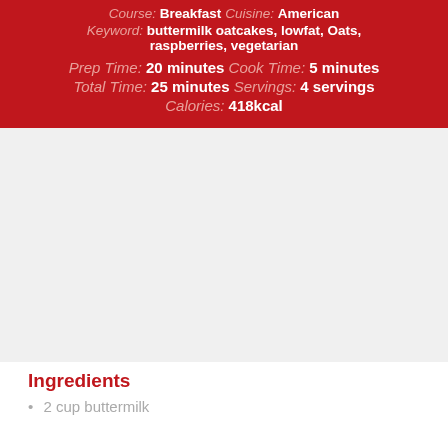Course: Breakfast   Cuisine: American
Keyword: buttermilk oatcakes, lowfat, Oats, raspberries, vegetarian
Prep Time: 20 minutes   Cook Time: 5 minutes
Total Time: 25 minutes   Servings: 4 servings
Calories: 418kcal
[Figure (photo): Large gray placeholder image area]
Ingredients
2 cup buttermilk